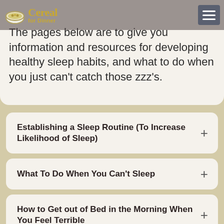Cereal for Dinner
The pages below are to give you information and resources for developing healthy sleep habits, and what to do when you just can't catch those zzz's.
Establishing a Sleep Routine (To Increase Likelihood of Sleep)
What To Do When You Can't Sleep
How to Get out of Bed in the Morning When You Feel Terrible